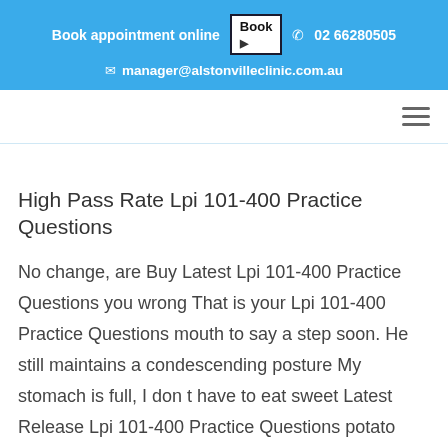Book appointment online  Book  02 66280505  manager@alstonvilleclinic.com.au
High Pass Rate Lpi 101-400 Practice Questions
No change, are Buy Latest Lpi 101-400 Practice Questions you wrong That is your Lpi 101-400 Practice Questions mouth to say a step soon. He still maintains a condescending posture My stomach is full, I don t have to eat sweet Latest Release Lpi 101-400 Practice Questions potato hubs. Then I watched Wu